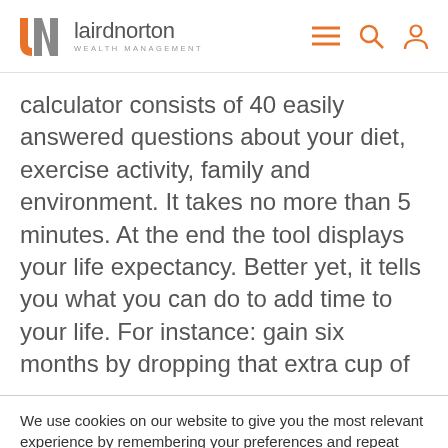lairdnorton WEALTH MANAGEMENT
calculator consists of 40 easily answered questions about your diet, exercise activity, family and environment. It takes no more than 5 minutes. At the end the tool displays your life expectancy. Better yet, it tells you what you can do to add time to your life. For instance: gain six months by dropping that extra cup of
We use cookies on our website to give you the most relevant experience by remembering your preferences and repeat visits. By clicking “Accept All”, you consent to the use of ALL the cookies. However, you may visit "Cookie Settings" to customize your settings.